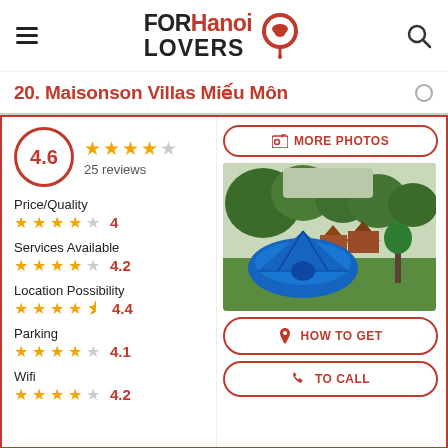FOR Hanoi LOVERS
20. Maisonson Villas Miếu Môn
4.6 — 4.6 out of 5 stars, 25 reviews
Price/Quality: 4 stars — 4
Services Available: 4.2 stars — 4.2
Location Possibility: 4.4 stars — 4.4
Parking: 4.1 stars — 4.1
Wifi: 4.2 stars — 4.2
[Figure (photo): Outdoor camping photo with blue tent on green grass, triangular cabin-style structures in background, trees overhead]
MORE PHOTOS
HOW TO GET
TO CALL